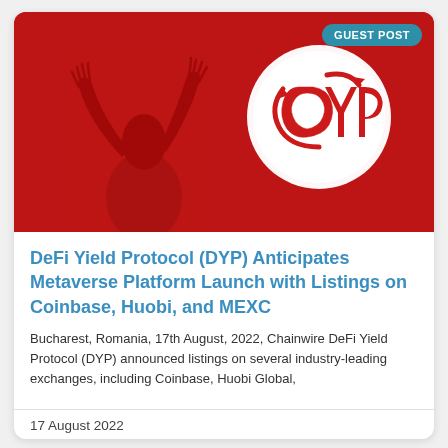[Figure (illustration): Red background banner image with a silhouetted figure raising hands on the left, and a white circular DYP coin logo on the right. A 'GUEST POST' badge in teal is shown in the top-right corner.]
DeFi Yield Protocol (DYP) Anticipates Metaverse Platform Launch with Listings on Coinbase, Huobi, and MEXC
Bucharest, Romania, 17th August, 2022, Chainwire DeFi Yield Protocol (DYP) announced listings on several industry-leading exchanges, including Coinbase, Huobi Global,
17 August 2022